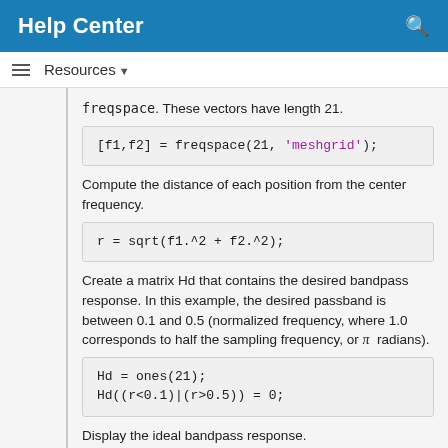Help Center
freqspace. These vectors have length 21.
[f1,f2] = freqspace(21,'meshgrid');
Compute the distance of each position from the center frequency.
r = sqrt(f1.^2 + f2.^2);
Create a matrix Hd that contains the desired bandpass response. In this example, the desired passband is between 0.1 and 0.5 (normalized frequency, where 1.0 corresponds to half the sampling frequency, or π radians).
Hd = ones(21);
Hd((r<0.1)|(r>0.5)) = 0;
Display the ideal bandpass response.